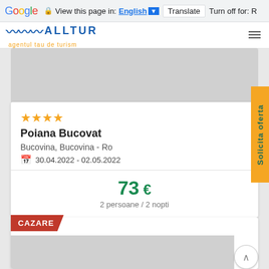Google | View this page in: English | Translate | Turn off for: R
[Figure (logo): ALLTUR travel agency logo with waves icon and tagline 'agentul tau de turism']
[Figure (photo): Hotel image placeholder (gray)]
★★★★
Poiana Bucovat
Bucovina, Bucovina - Ro
30.04.2022 - 02.05.2022
73 € 2 persoane / 2 nopti
CAZARE
[Figure (photo): Hotel/accommodation image placeholder (gray)]